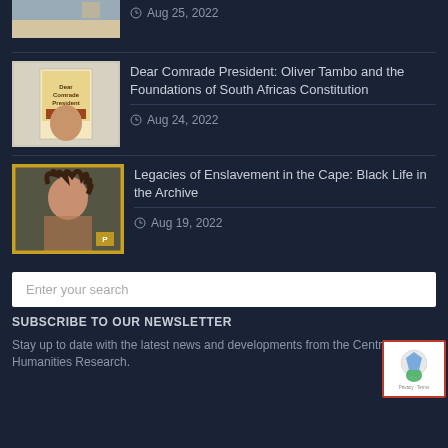[Figure (photo): Partial beach/coastal scene thumbnail at top of page (cropped)]
Aug 25, 2022
[Figure (photo): Book cover thumbnail: 'Dear Comrade President']
Dear Comrade President: Oliver Tambo and the Foundations of South Africas Constitution
Aug 24, 2022
[Figure (photo): Black and white portrait photo of a woman with locs, gold-bordered thumbnail]
Legacies of Enslavement in the Cape: Black Life in the Archive
Aug 19, 2022
Enter your search
SUBSCRIBE TO OUR NEWSLETTER
Stay up to date with the latest news and developments from the Centre for Humanities Research.